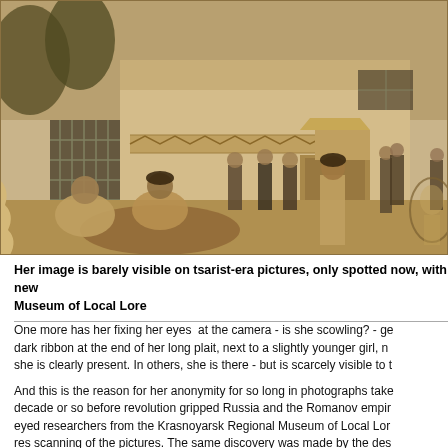[Figure (photo): Sepia-toned historical photograph showing a group of people standing in front of a building with ornate architectural details. Several men stand in the background near the building entrance. In the foreground, workers appear to be digging. A faintly visible woman is circled on the right edge of the photo.]
Her image is barely visible on tsarist-era pictures, only spotted now, with new high-res scanning of the pictures. The same discovery was made by the descendants asked for pictures of the city from the early years of the 20th century. Krasnoyarsk Regional Museum of Local Lore
One more has her fixing her eyes at the camera - is she scowling? - getting a dark ribbon at the end of her long plait, next to a slightly younger girl, no doubt she is clearly present. In others, she is there - but is scarcely visible to the eye.
And this is the reason for her anonymity for so long in photographs taken a decade or so before revolution gripped Russia and the Romanov empire. Sharp-eyed researchers from the Krasnoyarsk Regional Museum of Local Lore - high res scanning of the pictures. The same discovery was made by the descendants asked for pictures of the city from the early years of the 20th century. T